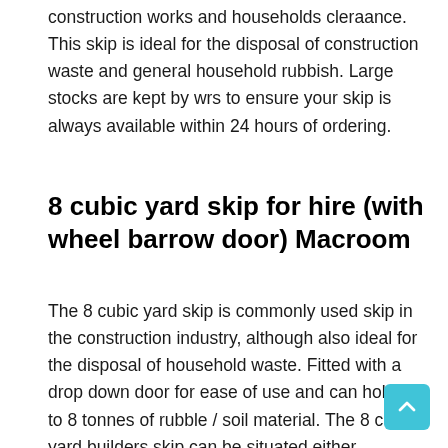construction works and households cleraance. This skip is ideal for the disposal of construction waste and general household rubbish. Large stocks are kept by wrs to ensure your skip is always available within 24 hours of ordering.
8 cubic yard skip for hire (with wheel barrow door) Macroom
The 8 cubic yard skip is commonly used skip in the construction industry, although also ideal for the disposal of household waste. Fitted with a drop down door for ease of use and can hold up to 8 tonnes of rubble / soil material. The 8 cubic yard builders skip can be situated either